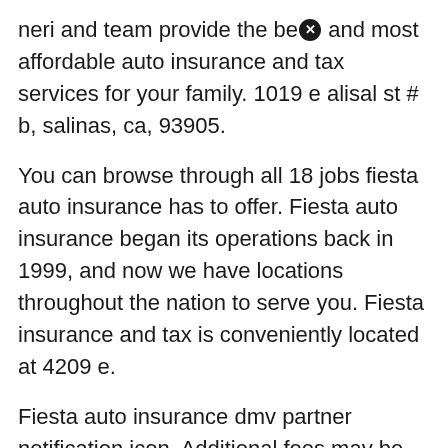neri and team provide the be[icon] and most affordable auto insurance and tax services for your family. 1019 e alisal st # b, salinas, ca, 93905.
You can browse through all 18 jobs fiesta auto insurance has to offer. Fiesta auto insurance began its operations back in 1999, and now we have locations throughout the nation to serve you. Fiesta insurance and tax is conveniently located at 4209 e.
Fiesta auto insurance dmv partner notification icon. Additional fees may be applied by this partner. Find 6 listings related to fiesta insurance in salinas on yp.com.
At fiesta we treat you like family! Compare local agents and online companies to get the best, least expensive auto insurance. Fiesta auto insura[icon]e center provides insurance